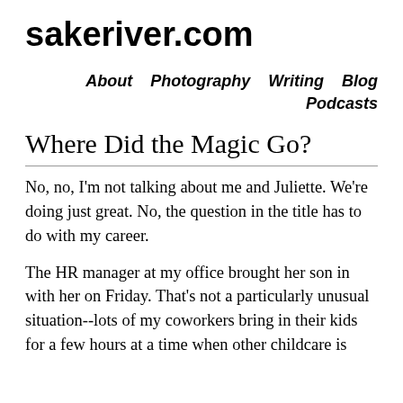sakeriver.com
About  Photography  Writing  Blog  Podcasts
Where Did the Magic Go?
No, no, I'm not talking about me and Juliette. We're doing just great. No, the question in the title has to do with my career.
The HR manager at my office brought her son in with her on Friday. That's not a particularly unusual situation--lots of my coworkers bring in their kids for a few hours at a time when other childcare is unavailable. What made this time different was that the